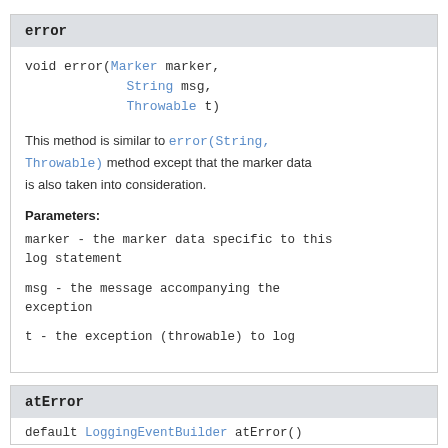error
void error(Marker marker,
           String msg,
           Throwable t)
This method is similar to error(String, Throwable) method except that the marker data is also taken into consideration.
Parameters:
marker - the marker data specific to this log statement
msg - the message accompanying the exception
t - the exception (throwable) to log
atError
default LoggingEventBuilder atError()